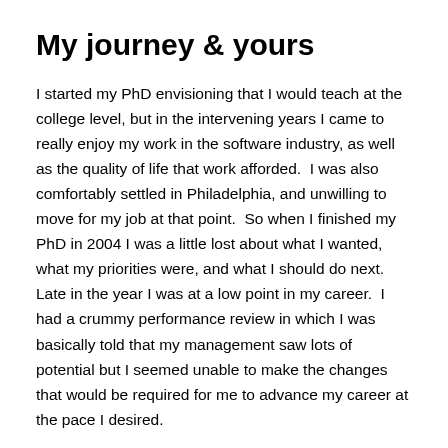My journey & yours
I started my PhD envisioning that I would teach at the college level, but in the intervening years I came to really enjoy my work in the software industry, as well as the quality of life that work afforded.  I was also comfortably settled in Philadelphia, and unwilling to move for my job at that point.  So when I finished my PhD in 2004 I was a little lost about what I wanted, what my priorities were, and what I should do next. Late in the year I was at a low point in my career.  I had a crummy performance review in which I was basically told that my management saw lots of potential but I seemed unable to make the changes that would be required for me to advance my career at the pace I desired.